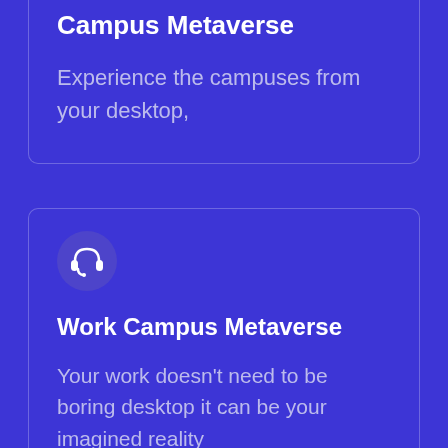Campus Metaverse
Experience the campuses from your desktop,
[Figure (illustration): Headset/support icon inside a dark purple circle]
Work Campus Metaverse
Your work doesn't need to be boring desktop it can be your imagined reality